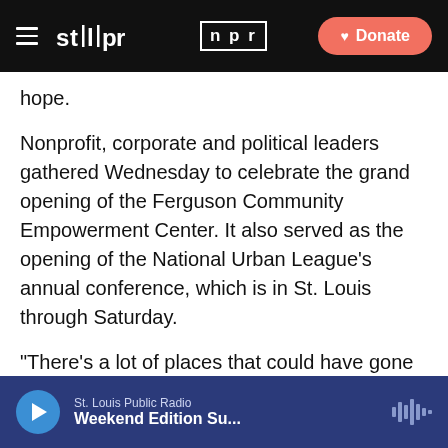STLPR NPR | Donate
hope.
Nonprofit, corporate and political leaders gathered Wednesday to celebrate the grand opening of the Ferguson Community Empowerment Center. It also served as the opening of the National Urban League's annual conference, which is in St. Louis through Saturday.
“There’s a lot of places that could have gone in this space,” said Ferguson City Council member Wesley Bell, whose ward contains the new center. “There could have been another business, there could have been another convenience store, but that wouldn’t have been right,
St. Louis Public Radio | Weekend Edition Su...